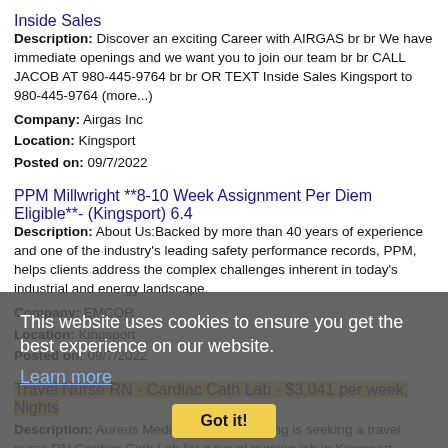Inside Sales
Description: Discover an exciting Career with AIRGAS br br We have immediate openings and we want you to join our team br br CALL JACOB AT 980-445-9764 br br OR TEXT Inside Sales Kingsport to 980-445-9764 (more...)
Company: Airgas Inc
Location: Kingsport
Posted on: 09/7/2022
PPM Millwright **8-10 Week Assignment Per Diem Eligible**- (Kingsport) 6.4
Description: About Us:Backed by more than 40 years of experience and one of the industry's leading safety performance records, PPM, helps clients address the complex challenges inherent in today's industrial and energy landscape.
Company: EMCOR
Location: Kingsport
Posted on: 09/7/2022
Travel Nurse RN - Cardiac Cath Lab - $3,041 per week, Nights
Description: Aureus Medical Group - Nursing is seeking a travel nurse RN Cardiac Cath Lab for a travel nursing job in Kingsport, Tennessee. Job Description Requirements: li Specialty: Cardiac...